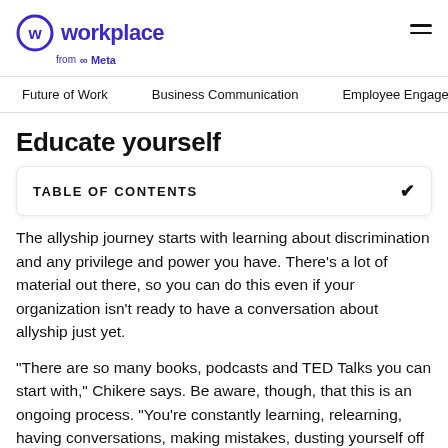Workplace from Meta
Future of Work   Business Communication   Employee Engagement
Educate yourself
TABLE OF CONTENTS
The allyship journey starts with learning about discrimination and any privilege and power you have. There's a lot of material out there, so you can do this even if your organization isn't ready to have a conversation about allyship just yet.
"There are so many books, podcasts and TED Talks you can start with," Chikere says. Be aware, though, that this is an ongoing process. "You're constantly learning, relearning, having conversations, making mistakes, dusting yourself off and carrying on. This is a lifelong